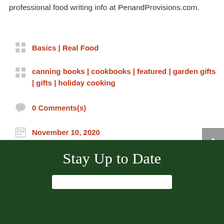professional food writing info at PenandProvisions.com.
Basics | Real Food
canning books | cookbooks | featured | garden gifts | gifts | holiday cooking
0 Comments(s)
November 10, 2020
Stay Up to Date